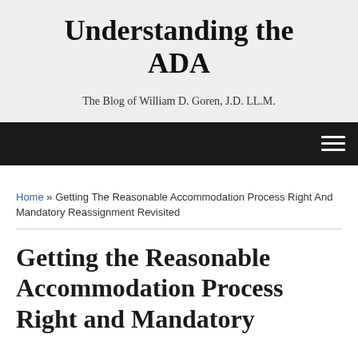Understanding the ADA
The Blog of William D. Goren, J.D. LL.M.
Navigation menu
Home » Getting The Reasonable Accommodation Process Right And Mandatory Reassignment Revisited
Getting the Reasonable Accommodation Process Right and Mandatory